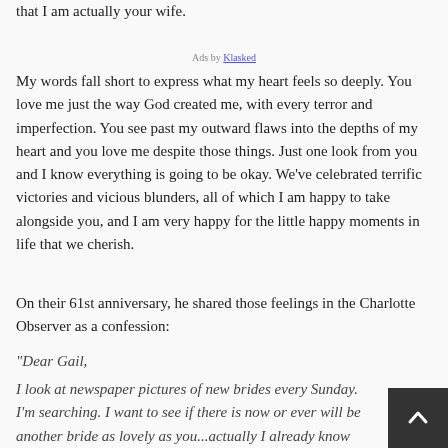that I am actually your wife.
Ads by Klasked
My words fall short to express what my heart feels so deeply. You love me just the way God created me, with every terror and imperfection. You see past my outward flaws into the depths of my heart and you love me despite those things. Just one look from you and I know everything is going to be okay. We've celebrated terrific victories and vicious blunders, all of which I am happy to take alongside you, and I am very happy for the little happy moments in life that we cherish.
On their 61st anniversary, he shared those feelings in the Charlotte Observer as a confession:
"Dear Gail,
I look at newspaper pictures of new brides every Sunday. I'm searching. I want to see if there is now or ever will be another bride as lovely as you...actually I already know the answer. There is not - and never will be to me - your equal in loveliness. On our wedding day you were the most beautiful thing I've ever seen. The delightful truth is that